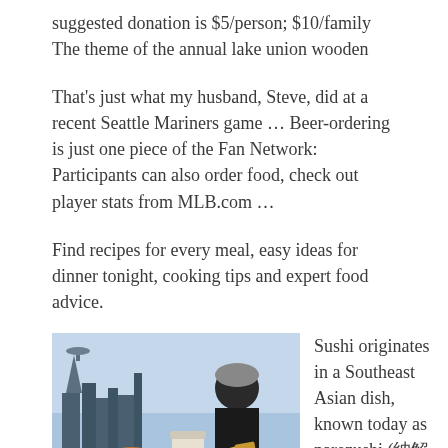suggested donation is $5/person; $10/family The theme of the annual lake union wooden
That's just what my husband, Steve, did at a recent Seattle Mariners game … Beer-ordering is just one piece of the Fan Network: Participants can also order food, check out player stats from MLB.com …
Find recipes for every meal, easy ideas for dinner tonight, cooking tips and expert food advice.
[Figure (photo): A man standing in front of the Seattle skyline with food and drinks, with 'MUNCHIES' label overlay]
Sushi originates in a Southeast Asian dish, known today as narezushi (納豆 ?